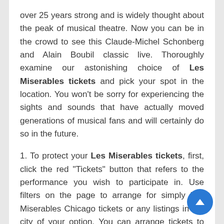over 25 years strong and is widely thought about the peak of musical theatre. Now you can be in the crowd to see this Claude-Michel Schonberg and Alain Boubil classic live. Thoroughly examine our astonishing choice of Les Miserables tickets and pick your spot in the location. You won't be sorry for experiencing the sights and sounds that have actually moved generations of musical fans and will certainly do so in the future.
1. To protect your Les Miserables tickets, first, click the red "Tickets" button that refers to the performance you wish to participate in. Use filters on the page to arrange for simply Les Miserables Chicago tickets or any listings in the city of your option. You can arrange tickets to Les Miserables by date, city, or time of day to discover the very best show for you.